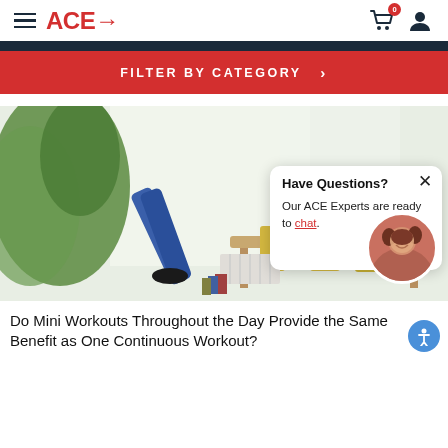ACE→ [hamburger menu] [cart 0] [user icon]
FILTER BY CATEGORY >
[Figure (photo): Person doing a stretch/workout move on a table in a bright open room with plants and yellow chairs in background]
Have Questions? Our ACE Experts are ready to chat.
Do Mini Workouts Throughout the Day Provide the Same Benefit as One Continuous Workout?